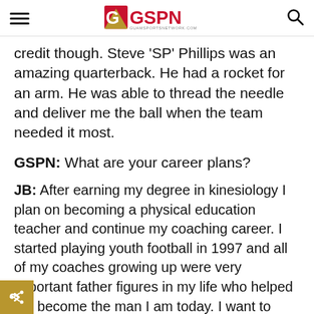GSPN - Guam Sports Network
credit though. Steve 'SP' Phillips was an amazing quarterback. He had a rocket for an arm. He was able to thread the needle and deliver me the ball when the team needed it most.
GSPN: What are your career plans?
JB: After earning my degree in kinesiology I plan on becoming a physical education teacher and continue my coaching career. I started playing youth football in 1997 and all of my coaches growing up were very important father figures in my life who helped me become the man I am today. I want to give back to the youth and hopefully impact them in a positive way like my coaches did for me.